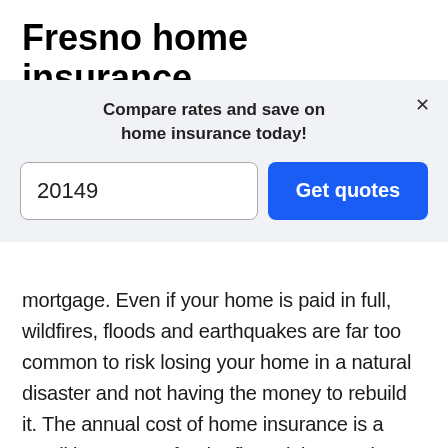Fresno home insurance
[Figure (screenshot): Modal overlay with 'Compare rates and save on home insurance today!' heading, a zip code input field showing '20149', a blue 'Get quotes' button, and an X close button.]
mortgage. Even if your home is paid in full, wildfires, floods and earthquakes are far too common to risk losing your home in a natural disaster and not having the money to rebuild it. The annual cost of home insurance is a small investment for the financial protection you receive if your home is lost.
It is important to note that wildfires are a covered